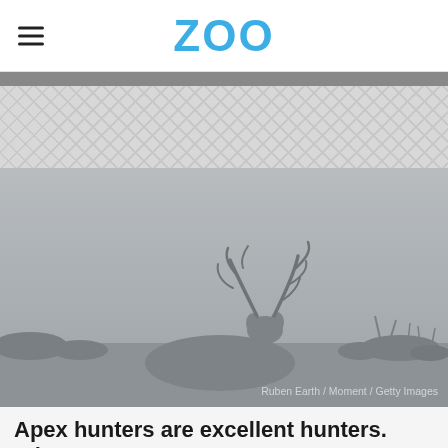ZOO
[Figure (photo): Silhouette of a large buck deer with antlers resting in a misty field with grass and shrubs. Gray foggy atmosphere. Photo credit: Ruben Earth / Moment / Getty Images]
Ruben Earth / Moment / Getty Images
Apex hunters are excellent hunters. What